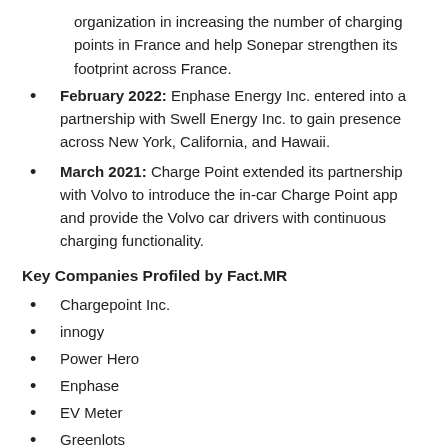organization in increasing the number of charging points in France and help Sonepar strengthen its footprint across France.
February 2022: Enphase Energy Inc. entered into a partnership with Swell Energy Inc. to gain presence across New York, California, and Hawaii.
March 2021: Charge Point extended its partnership with Volvo to introduce the in-car Charge Point app and provide the Volvo car drivers with continuous charging functionality.
Key Companies Profiled by Fact.MR
Chargepoint Inc.
innogy
Power Hero
Enphase
EV Meter
Greenlots
has·to·be gmbh